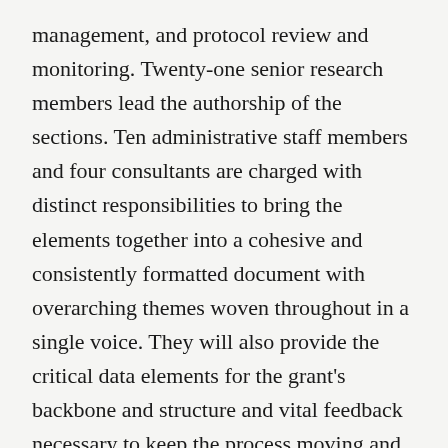management, and protocol review and monitoring. Twenty-one senior research members lead the authorship of the sections. Ten administrative staff members and four consultants are charged with distinct responsibilities to bring the elements together into a cohesive and consistently formatted document with overarching themes woven throughout in a single voice. They will also provide the critical data elements for the grant's backbone and structure and vital feedback necessary to keep the process moving and on track to meet all milestones and deadlines.
Recently, our External Advisory Board conducted extensive reviews of the entire grant. Part of their